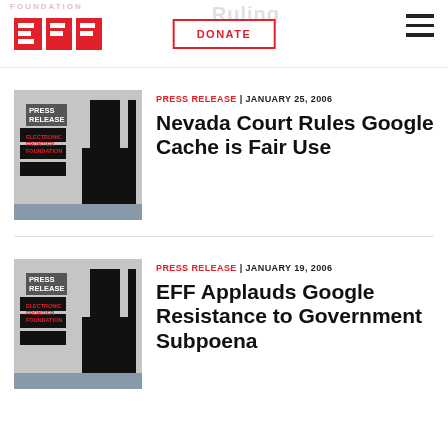EFF | DONATE
PRESS RELEASE | JANUARY 25, 2006
Nevada Court Rules Google Cache is Fair Use
[Figure (logo): EFF Press Release thumbnail with PRESS RELEASE and ELECTRONIC FRONTIER FOUNDATION text on grey background with EFF logo]
PRESS RELEASE | JANUARY 19, 2006
EFF Applauds Google Resistance to Government Subpoena
[Figure (logo): EFF Press Release thumbnail with PRESS RELEASE and ELECTRONIC FRONTIER FOUNDATION text on grey background with EFF logo]